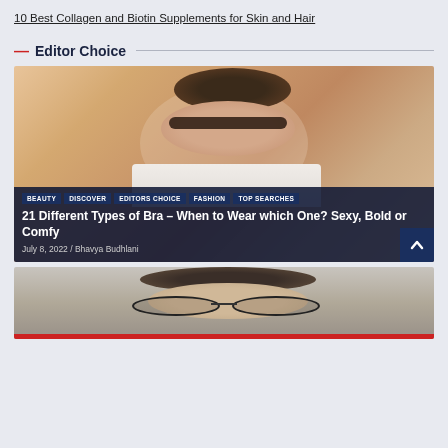10 Best Collagen and Biotin Supplements for Skin and Hair
— Editor Choice
[Figure (photo): Woman wearing sunglasses and white bra top against peach/beige background, smiling, with tags BEAUTY, DISCOVER, EDITORS CHOICE, FASHION, TOP SEARCHES overlaid, and title '21 Different Types of Bra – When to Wear which One? Sexy, Bold or Comfy' with date July 8, 2022 / Bhavya Budhlani]
[Figure (photo): Man with large round glasses looking surprised, partially visible at bottom of page with red bar at bottom]